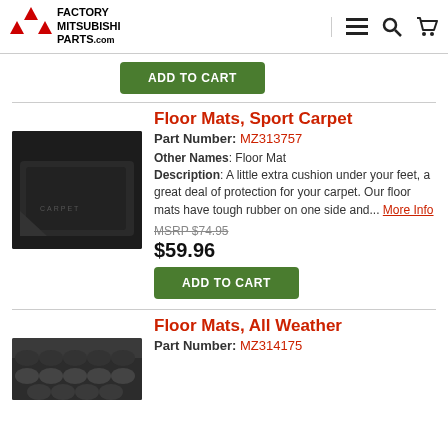Factory Mitsubishi Parts.com
ADD TO CART
Floor Mats, Sport Carpet
Part Number: MZ313757
Other Names: Floor Mat
Description: A little extra cushion under your feet, a great deal of protection for your carpet. Our floor mats have tough rubber on one side and... More Info
MSRP $74.95
$59.96
ADD TO CART
Floor Mats, All Weather
Part Number: MZ314175
[Figure (photo): Black sport carpet floor mat with embossed text]
[Figure (photo): Black all weather floor mat with textured surface]